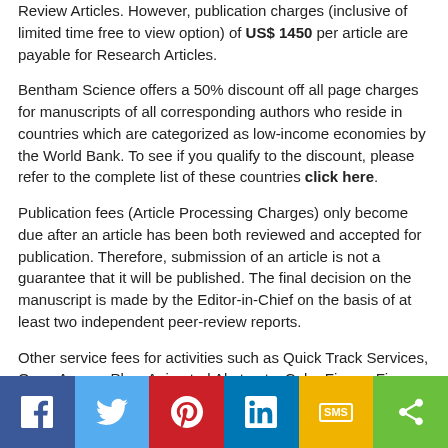Review Articles. However, publication charges (inclusive of limited time free to view option) of US$ 1450 per article are payable for Research Articles.
Bentham Science offers a 50% discount off all page charges for manuscripts of all corresponding authors who reside in countries which are categorized as low-income economies by the World Bank. To see if you qualify to the discount, please refer to the complete list of these countries click here.
Publication fees (Article Processing Charges) only become due after an article has been both reviewed and accepted for publication. Therefore, submission of an article is not a guarantee that it will be published. The final decision on the manuscript is made by the Editor-in-Chief on the basis of at least two independent peer-review reports.
Other service fees for activities such as Quick Track Services, Open Access Plus, Animated Abstracts, Color Figure, Figure Improvement or Language Editing are optional and are only charged as and when these services are availed.
QUICK TRACK PUBLICATION
[Figure (other): Social sharing bar with icons for Facebook (blue), Twitter (light blue), Pinterest (red), LinkedIn (dark blue), SMS (yellow), and Share (green)]